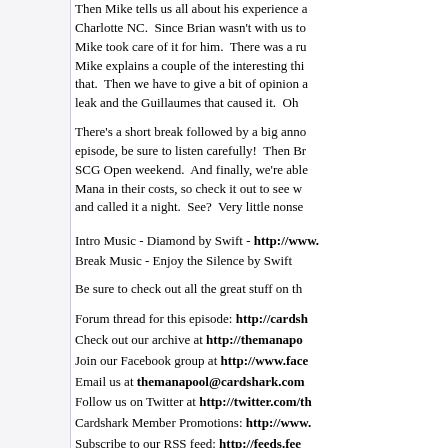Then Mike tells us all about his experience at Charlotte NC. Since Brian wasn't with us to register, Mike took care of it for him. There was a rule... Mike explains a couple of the interesting things about that. Then we have to give a bit of opinion about a leak and the Guillaumes that caused it. Oh
There's a short break followed by a big announcement for this episode, be sure to listen carefully! Then Brian talks about the SCG Open weekend. And finally, we're able to look at cards with Mana in their costs, so check it out to see what we think and called it a night. See? Very little nonse...
Intro Music - Diamond by Swift - http://www... Break Music - Enjoy the Silence by Swift
Be sure to check out all the great stuff on th...
Forum thread for this episode: http://cardsh... Check out our archive at http://themanapo... Join our Facebook group at http://www.fac... Email us at themanapool@cardshark.com... Follow us on Twitter at http://twitter.com/th... Cardshark Member Promotions: http://www... Subscribe to our RSS feed: http://feeds.fee...
Direct download: EPisode_177_-_Lots_of_Actual_C... Category: podcasts — posted at: 5:40pm EDT
Thu, 28 April 2011
Episode 176 - Bludg...
This is one crazy episode we've got here for you. It's been completely spoiled, and we decided to... end, everything in this episode is a look at th...